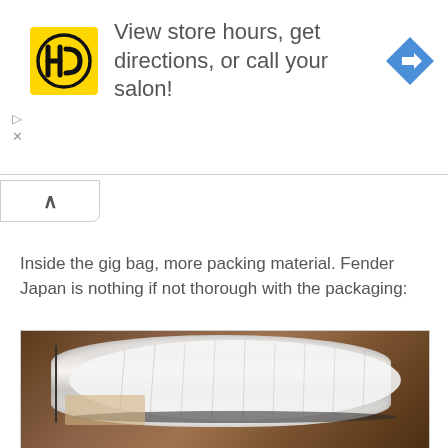[Figure (screenshot): Advertisement banner for Hairclub (HC) salon. Yellow square logo with HC text on left, text 'View store hours, get directions, or call your salon!' in center, blue diamond navigation arrow icon on right. Play and close (X) controls at bottom left of ad.]
Inside the gig bag, more packing material. Fender Japan is nothing if not thorough with the packaging:
[Figure (photo): Photo of a guitar gig bag wrapped tightly in white plastic bubble wrap / protective packaging material, resting on a wooden floor. The black gig bag edges are visible beneath the white wrapping. A cardboard box is partially visible beneath the bag.]